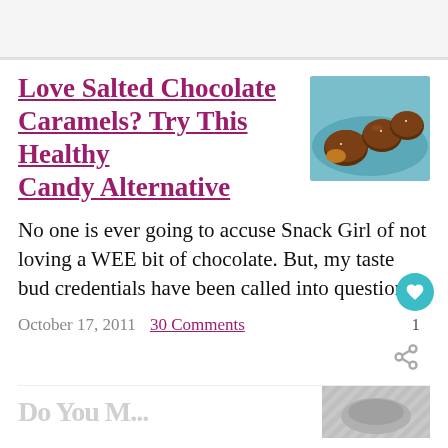[Figure (screenshot): Top navigation/header bar of a website, light gray background]
Love Salted Chocolate Caramels? Try This Healthy Candy Alternative
[Figure (photo): Photo of chocolate-covered caramel candies on a blue plate]
No one is ever going to accuse Snack Girl of not loving a WEE bit of chocolate. But, my taste bud credentials have been called into question....
October 17, 2011  30 Comments  1